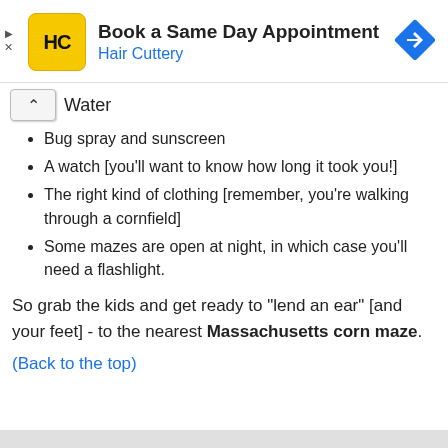[Figure (other): Hair Cuttery advertisement banner with logo, text 'Book a Same Day Appointment / Hair Cuttery', and a blue navigation arrow icon]
Water
Bug spray and sunscreen
A watch [you'll want to know how long it took you!]
The right kind of clothing [remember, you're walking through a cornfield]
Some mazes are open at night, in which case you'll need a flashlight.
So grab the kids and get ready to "lend an ear" [and your feet] - to the nearest Massachusetts corn maze.
(Back to the top)